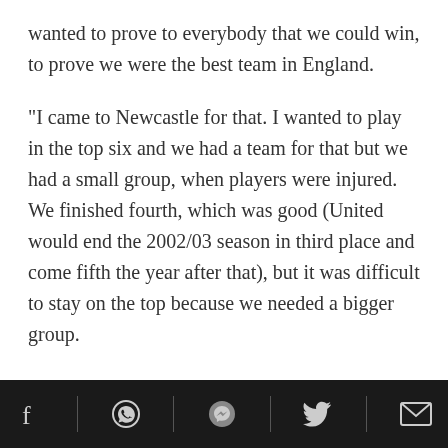wanted to prove to everybody that we could win, to prove we were the best team in England.
"I came to Newcastle for that. I wanted to play in the top six and we had a team for that but we had a small group, when players were injured. We finished fourth, which was good (United would end the 2002/03 season in third place and come fifth the year after that), but it was difficult to stay on the top because we needed a bigger group.
"We had good players, the team was very good, but for me I wanted more. But my four years at Newcastle
Social share icons: Facebook, WhatsApp, Messenger, Twitter, Email